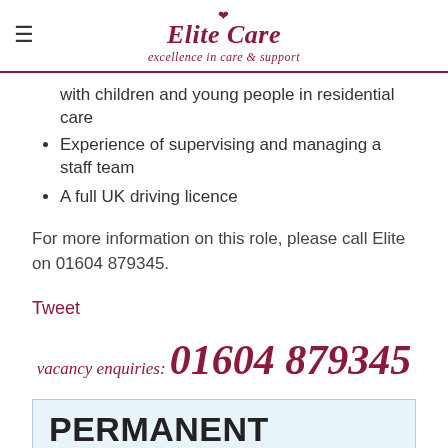Elite Care — excellence in care & support
with children and young people in residential care
Experience of supervising and managing a staff team
A full UK driving licence
For more information on this role, please call Elite on 01604 879345.
Tweet
vacancy enquiries: 01604 879345
PERMANENT